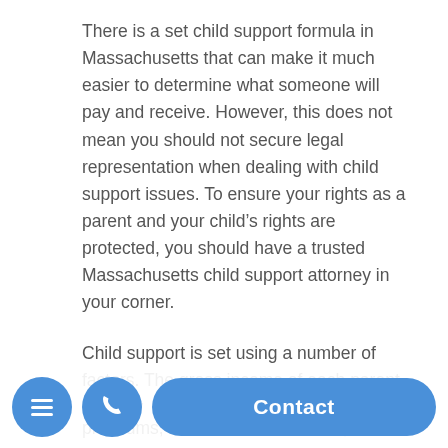There is a set child support formula in Massachusetts that can make it much easier to determine what someone will pay and receive. However, this does not mean you should not secure legal representation when dealing with child support issues. To ensure your rights as a parent and your child's rights are protected, you should have a trusted Massachusetts child support attorney in your corner.
Child support is set using a number of factors. The gross income of each parent, any health insurance premiums, the number of children, other